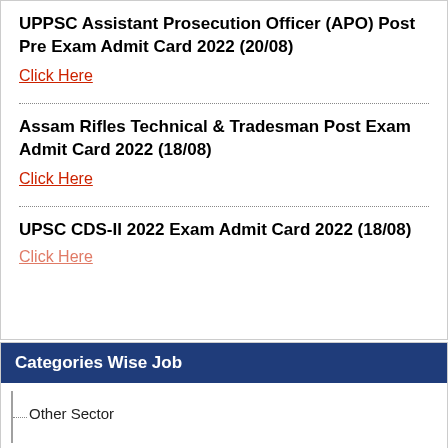UPPSC Assistant Prosecution Officer (APO) Post Pre Exam Admit Card 2022 (20/08)
Click Here
Assam Rifles Technical & Tradesman Post Exam Admit Card 2022 (18/08)
Click Here
UPSC CDS-II 2022 Exam Admit Card 2022 (18/08)
Click Here
Categories Wise Job
Other Sector
Telecom Sector
Media/Entertainment Sector
Indian Railway Sector